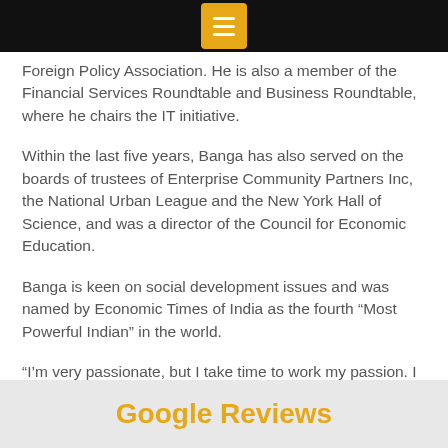Foreign Policy Association. He is also a member of the Financial Services Roundtable and Business Roundtable, where he chairs the IT initiative.
Within the last five years, Banga has also served on the boards of trustees of Enterprise Community Partners Inc, the National Urban League and the New York Hall of Science, and was a director of the Council for Economic Education.
Banga is keen on social development issues and was named by Economic Times of India as the fourth “Most Powerful Indian” in the world.
“I’m very passionate, but I take time to work my passion. I study something and I try to understand both sides of the debate,” Banga says.
Google Reviews